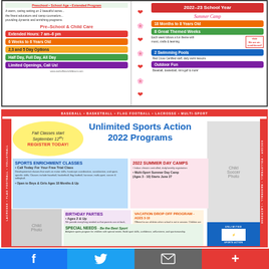[Figure (infographic): Work of Heart Child Care advertisement for 2022-23 School Year and Summer Camp. Left side shows preschool/childcare details with colored pills for Extended Hours 7am-6pm, 6 Weeks to 6 Years Old, 2,3 and 5 Day Options, Half Day Full Day All Day, Limited Openings Call Us. Right side shows Summer Camp details: 18 Months to 8 Years Old, 8 Great Themed Weeks, 2 Swimming Pools, Outdoor Fun.]
[Figure (infographic): Unlimited Sports Action 2022 Programs advertisement. Shows sports enrichment classes, 2022 summer day camps, birthday parties, vacation drop off program, and special needs program. Photos of children playing sports. Sports listed: Baseball, Basketball, Flag Football, Lacrosse, Multi-Sport, Soccer, Volleyball.]
Social media footer bar with Facebook, Twitter, Email, and Plus icons